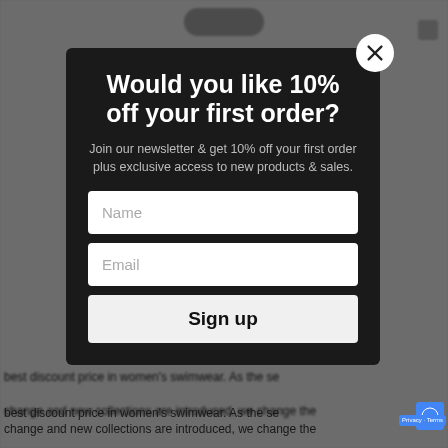[Figure (screenshot): Background webpage partially visible, dimmed behind modal overlay showing swimwear website]
Would you like 10% off your first order?
Join our newsletter & get 10% off your first order plus exclusive access to new products & sales.
Name
Email
Sign up
best discount price in women's swimwear. As the se change and new collections are introduced, we change the